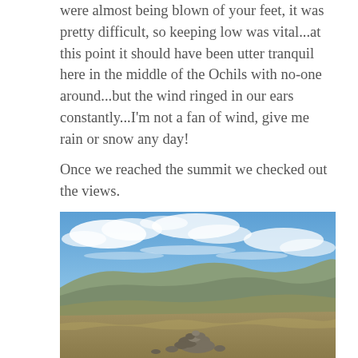were almost being blown of your feet, it was pretty difficult, so keeping low was vital...at this point it should have been utter tranquil here in the middle of the Ochils with no-one around...but the wind ringed in our ears constantly...I'm not a fan of wind, give me rain or snow any day!
Once we reached the summit we checked out the views.
[Figure (photo): Landscape photograph taken from a hilltop summit showing rolling moorland hills in the background under a dramatic blue sky with wispy white clouds. In the foreground is a stone cairn made of rough rocks, surrounded by dry golden-brown grass.]